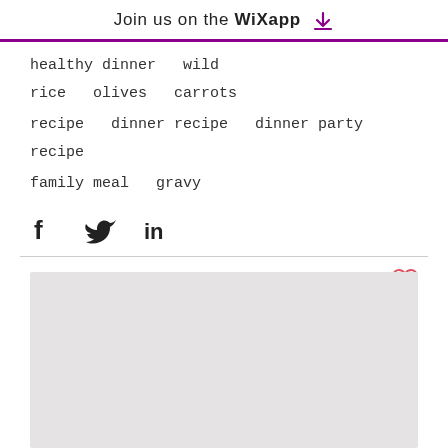Join us on the WiX app ⬇
healthy dinner   wild rice   olives   carrots
recipe   dinner recipe   dinner party recipe
family meal   gravy
[Figure (infographic): Social share icons: Facebook, Twitter, LinkedIn]
[Figure (infographic): Heart/like icon (outlined, pink/red color) on the right side]
[Figure (other): Large light gray rectangular block (placeholder image area)]